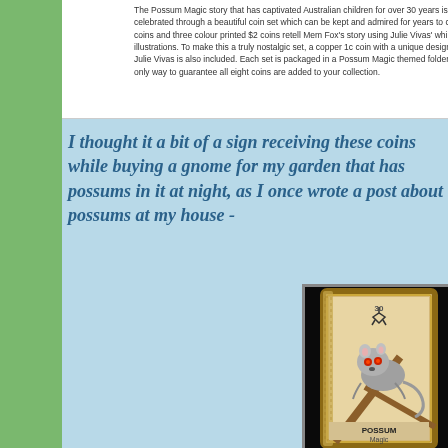The Possum Magic story that has captivated Australian children for over 30 years is now being celebrated through a beautiful coin set which can be kept and admired for years to come. Four $1 coins and three colour printed $2 coins retell Mem Fox's story using Julie Vivas' whimsical illustrations. To make this a truly nostalgic set, a copper 1c coin with a unique design created by Julie Vivas is also included. Each set is packaged in a Possum Magic themed folder and is the only way to guarantee all eight coins are added to your collection.
I thought it a bit of a sign receiving these coins while buying a gnome for my garden that has possums in it at night, as I once wrote a post about possums at my house -
[Figure (photo): A photograph of a possum card/collectible showing a grey ringtail possum with red eyes perched on a branch, on a decorative card with ornate border. The card shows 'POSSUM' text at the bottom. The card appears to be part of a collectible set.]